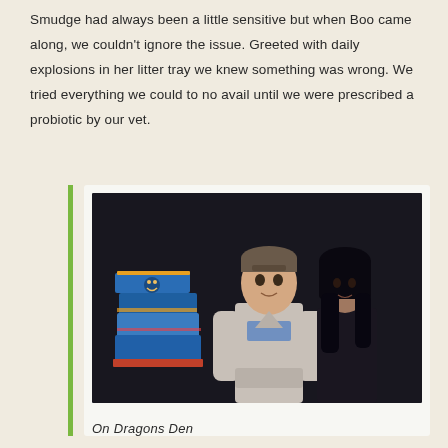Smudge had always been a little sensitive but when Boo came along, we couldn't ignore the issue. Greeted with daily explosions in her litter tray we knew something was wrong. We tried everything we could to no avail until we were prescribed a probiotic by our vet.
[Figure (photo): Two people standing in a dark setting — a man in a light grey sweater and a woman with dark hair wearing a dark top. To the left is a colorful tiered display (possibly a stacked box/cake with cat designs). The scene appears to be from a TV show called Dragons Den.]
On Dragons Den